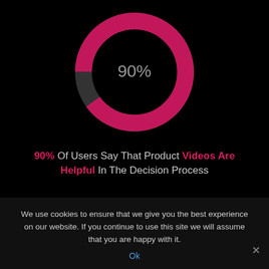[Figure (donut-chart): 90%]
90% Of Users Say That Product Videos Are Helpful In The Decision Process
We use cookies to ensure that we give you the best experience on our website. If you continue to use this site we will assume that you are happy with it.
Ok